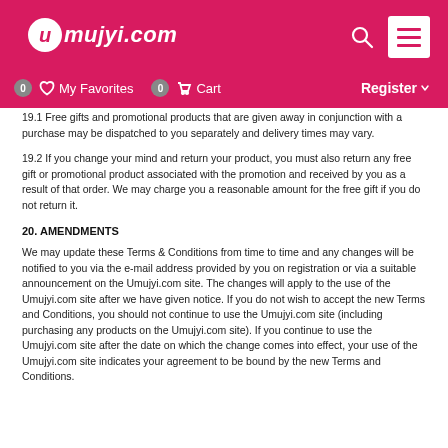Umujyi.com header navigation
19.1 Free gifts and promotional products that are given away in conjunction with a purchase may be dispatched to you separately and delivery times may vary.
19.2 If you change your mind and return your product, you must also return any free gift or promotional product associated with the promotion and received by you as a result of that order. We may charge you a reasonable amount for the free gift if you do not return it.
20. AMENDMENTS
We may update these Terms & Conditions from time to time and any changes will be notified to you via the e-mail address provided by you on registration or via a suitable announcement on the Umujyi.com site. The changes will apply to the use of the Umujyi.com site after we have given notice. If you do not wish to accept the new Terms and Conditions, you should not continue to use the Umujyi.com site (including purchasing any products on the Umujyi.com site). If you continue to use the Umujyi.com site after the date on which the change comes into effect, your use of the Umujyi.com site indicates your agreement to be bound by the new Terms and Conditions.